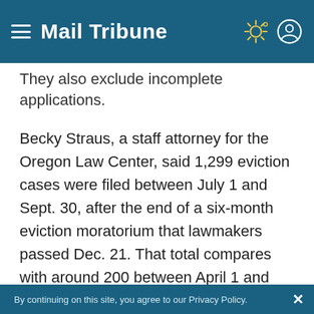Mail Tribune
They also exclude incomplete applications.
Becky Straus, a staff attorney for the Oregon Law Center, said 1,299 eviction cases were filed between July 1 and Sept. 30, after the end of a six-month eviction moratorium that lawmakers passed Dec. 21. That total compares with around 200 between April 1 and June 30.
Brown issued an executive order for an evictions moratorium starting April 1, 2020. The Legislature wrote that into law in a June 2020
By continuing on this site, you agree to our Privacy Policy.